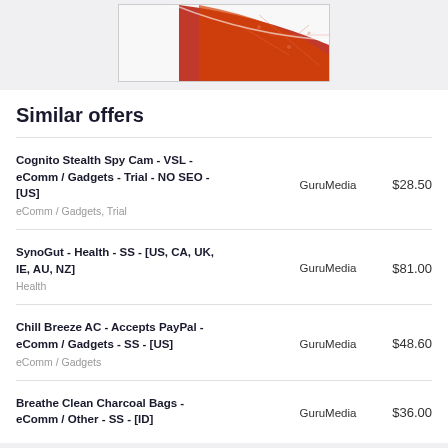[Figure (illustration): Partial view of a red and white decorative banner or logo image with abstract geometric/network pattern on dark red background]
Similar offers
| Offer | Vendor | Price |
| --- | --- | --- |
| Cognito Stealth Spy Cam - VSL - eComm / Gadgets - Trial - NO SEO - [US]
eComm / Gadgets, Trial | GuruMedia | $28.50 |
| SynoGut - Health - SS - [US, CA, UK, IE, AU, NZ]
Health | GuruMedia | $81.00 |
| Chill Breeze AC - Accepts PayPal - eComm / Gadgets - SS - [US]
eComm / Gadgets | GuruMedia | $48.60 |
| Breathe Clean Charcoal Bags - eComm / Other - SS - [ID] | GuruMedia | $36.00 |